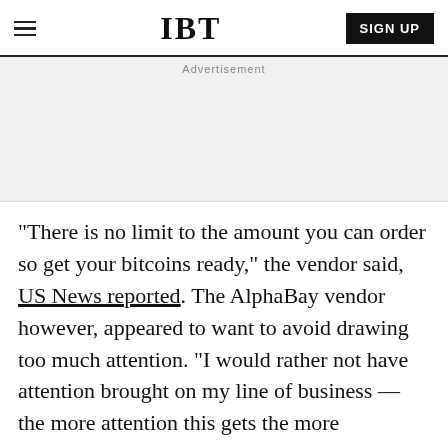IBT | SIGN UP
[Figure (other): Advertisement placeholder area with light gray background]
"There is no limit to the amount you can order so get your bitcoins ready," the vendor said, US News reported. The AlphaBay vendor however, appeared to want to avoid drawing too much attention. "I would rather not have attention brought on my line of business — the more attention this gets the more